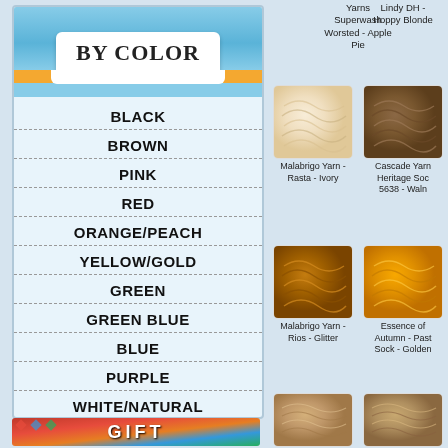BY COLOR
BLACK
BROWN
PINK
RED
ORANGE/PEACH
YELLOW/GOLD
GREEN
GREEN BLUE
BLUE
PURPLE
WHITE/NATURAL
[Figure (photo): Gift banner with colorful mosaic pattern]
Yarns Superwash Worsted - Apple Pie
Lindy DH - Hoppy Blonde
[Figure (photo): Malabrigo Yarn - Rasta - Ivory, cream colored yarn skein]
[Figure (photo): Cascade Yarns Heritage Sock 5638 - Walnut, brown yarn skein]
Malabrigo Yarn - Rasta - Ivory
Cascade Yarns Heritage Sock 5638 - Waln
[Figure (photo): Malabrigo Yarn - Rios - Glitter, golden brown yarn skein]
[Figure (photo): Essence of Autumn - Pastel Sock - Golden, orange yarn]
Malabrigo Yarn - Rios - Glitter
Essence of Autumn - Pastel Sock - Golden
[Figure (photo): Cascade Yarns tan yarn skein]
[Figure (photo): Cascade Yarns tan/beige yarn skein]
Cascade Yarns
Cascade Yarn